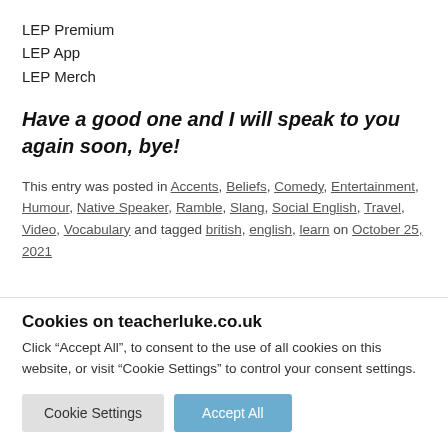LEP Premium
LEP App
LEP Merch
Have a good one and I will speak to you again soon, bye!
This entry was posted in Accents, Beliefs, Comedy, Entertainment, Humour, Native Speaker, Ramble, Slang, Social English, Travel, Video, Vocabulary and tagged british, english, learn on October 25, 2021
Cookies on teacherluke.co.uk
Click “Accept All”, to consent to the use of all cookies on this website, or visit “Cookie Settings” to control your consent settings.